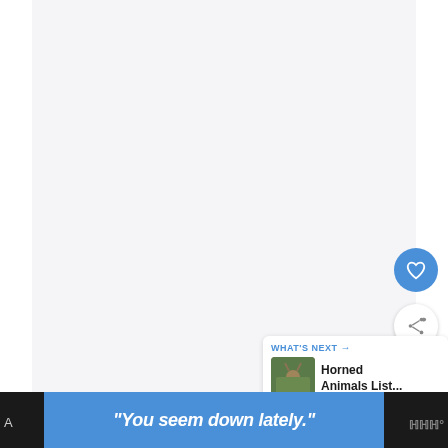[Figure (screenshot): White/light gray content area, main page background]
[Figure (illustration): Blue circular like/heart button]
[Figure (illustration): White circular share button with share icon]
[Figure (screenshot): What's Next card showing Horned Animals List... with thumbnail of horned animal]
WHAT'S NEXT →
Horned Animals List...
W°
"You seem down lately."
W°